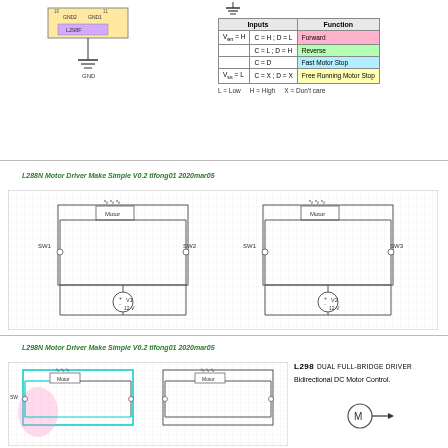[Figure (circuit-diagram): L298N IC schematic with GND2, GND1, GND pins and L298N chip, ground symbol below]
[Figure (circuit-diagram): Ground symbol with diode symbol and truth table header annotation]
| Inputs |  | Function |
| --- | --- | --- |
| V_en = H | C = H ; D = L | Forward |
|  | C = L ; D = H | Reverse |
|  | C = D | Fast Motor Stop |
| V_ss = L | C = X ; D = X | Free Running Motor Stop |
L = Low    H = High    X = Don't care
L288N Motor Driver Make Simple V0.2 tlfong01 2020mar05
[Figure (circuit-diagram): Two H-bridge motor driver circuits with motors (M), switches SW1/SW2 and SW1/SW3, voltage sources V1=12V and V2=12V on grid background]
L298N Motor Driver Make Simple V0.2 tlfong01 2020mar05
[Figure (circuit-diagram): Two H-bridge circuits with highlighted motor paths (cyan/pink outlines), motors labeled, voltage sources 12V, on grid background, and L298 dual full-bridge driver info]
L298  DUAL FULL-BRIDGE DRIVER
Bidirectional DC Motor Control.
[Figure (circuit-diagram): Small motor circle with arrow symbol (DC motor symbol)]